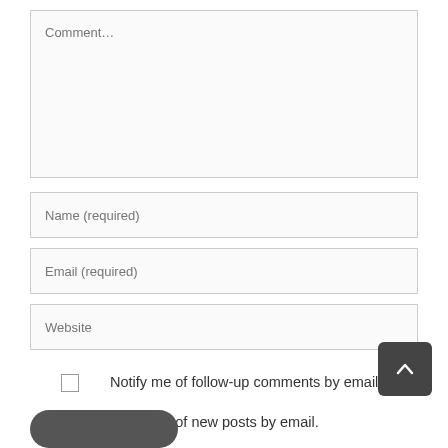[Figure (screenshot): Comment textarea input field with placeholder text 'Comment...']
[Figure (screenshot): Name (required) text input field]
[Figure (screenshot): Email (required) text input field]
[Figure (screenshot): Website text input field]
Notify me of follow-up comments by email.
Notify me of new posts by email.